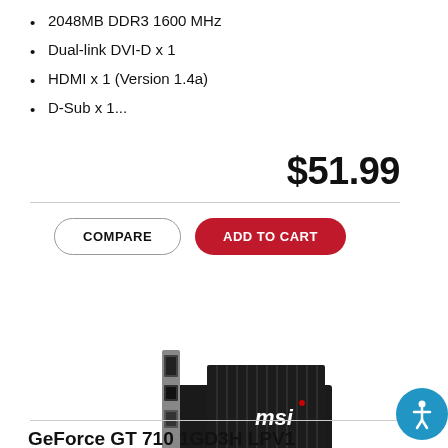2048MB DDR3 1600 MHz
Dual-link DVI-D x 1
HDMI x 1 (Version 1.4a)
D-Sub x 1...
$51.99
COMPARE | ADD TO CART
[Figure (photo): MSI GeForce GT 710 graphics card with black heatsink and gold PCIe connector, showing DVI and HDMI ports on bracket]
GeForce GT 710 1GD3H LPV1